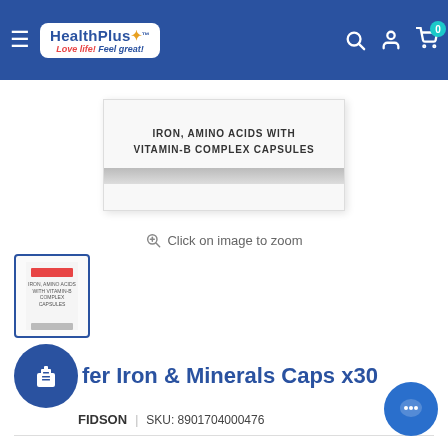HealthPlus — Love life! Feel great!
[Figure (photo): Product box showing 'IRON, AMINO ACIDS WITH VITAMIN-B COMPLEX CAPSULES' with grey stripe]
Click on image to zoom
[Figure (photo): Thumbnail of the product box (AMFERROL capsules)]
fer Iron & Minerals Caps x30
FIDSON | SKU: 8901704000476